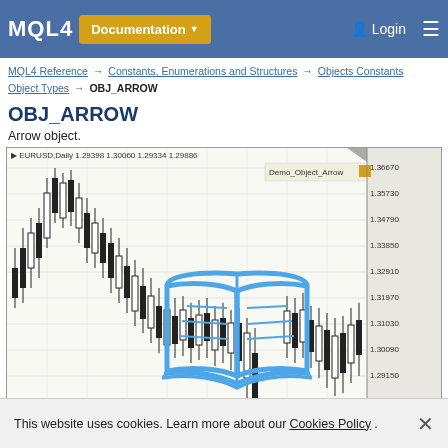MQL4 Documentation Login
MQL4 Reference → Constants, Enumerations and Structures → Objects Constants → Object Types → OBJ_ARROW
OBJ_ARROW
Arrow object.
[Figure (screenshot): A candlestick chart showing EURUSD Daily with price range approximately 1.28210 to 1.36670. The chart has a blue open-book arrow object overlaid on the candlestick data. Legend shows Demo_Object_Arrow. Price levels marked on right axis: 1.36670, 1.35730, 1.34790, 1.33850, 1.32910, 1.31970, 1.31030, 1.30090, 1.29150, 1.28210.]
This website uses cookies. Learn more about our Cookies Policy.